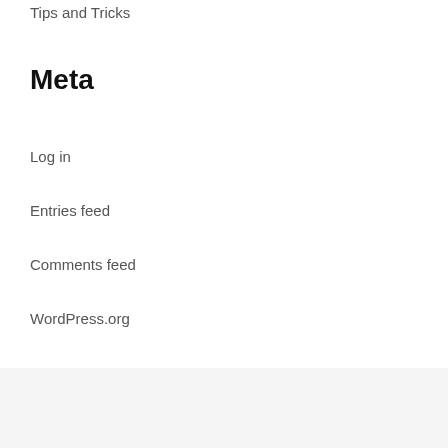Tips and Tricks
Meta
Log in
Entries feed
Comments feed
WordPress.org